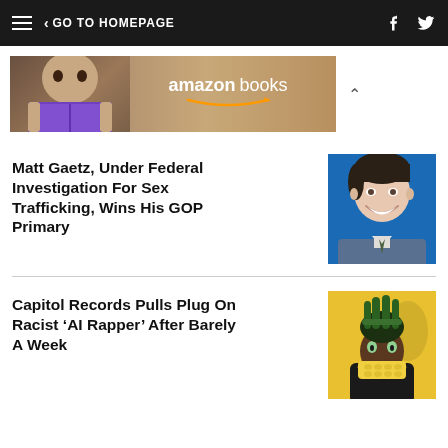≡  ‹ GO TO HOMEPAGE
[Figure (illustration): Amazon Books advertisement banner with a woman reading a book and the Amazon Books logo]
Matt Gaetz, Under Federal Investigation For Sex Trafficking, Wins His GOP Primary
[Figure (photo): Photo of Matt Gaetz smiling in front of a blue background, wearing a suit]
Capitol Records Pulls Plug On Racist 'AI Rapper' After Barely A Week
[Figure (photo): Illustration of an AI rapper character with green dreadlocks and a corn cob]